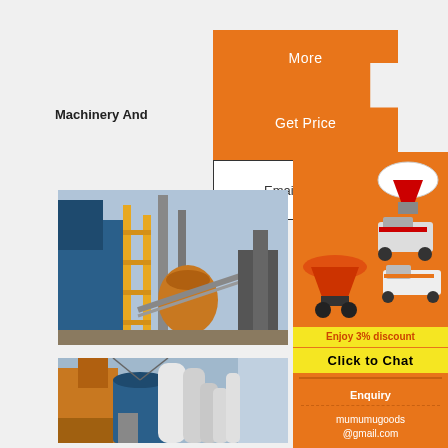Machinery And
[Figure (other): Orange button labeled 'More']
[Figure (other): Orange button labeled 'Get Price']
[Figure (other): White button with border labeled 'Email contact']
[Figure (photo): Industrial plant with blue structures, yellow scaffolding, conveyors and silos]
[Figure (photo): Industrial plant with blue silo, large pipes and industrial equipment]
[Figure (illustration): Orange sidebar panel with mining/crushing machinery images, 'Enjoy 3% discount' text in yellow, 'Click to Chat' yellow button, 'Enquiry' text, and 'mumumugoods@gmail.com' contact]
Enquiry
mumumugoods @gmail.com